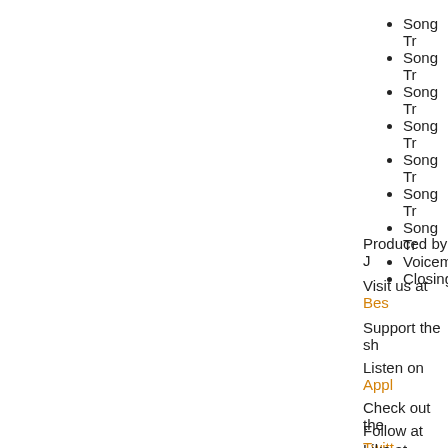Song Tr...
Song Tr...
Song Tr...
Song Tr...
Song Tr...
Song Tr...
Song Tr...
Voicema...
Closing...
Produced by J...
Visit us at Bes...
Support the sh...
Listen on Appl...
Check out the...
Follow at Twitt...
Like at Facebo...
Contact me di...